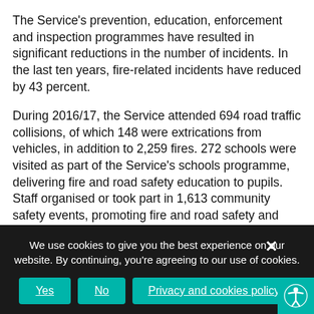The Service's prevention, education, enforcement and inspection programmes have resulted in significant reductions in the number of incidents. In the last ten years, fire-related incidents have reduced by 43 percent.
During 2016/17, the Service attended 694 road traffic collisions, of which 148 were extrications from vehicles, in addition to 2,259 fires. 272 schools were visited as part of the Service's schools programme, delivering fire and road safety education to pupils. Staff organised or took part in 1,613 community safety events, promoting fire and road safety and arson prevention, and 145 Virtual Fatal Four (VF4) events as part of the Service's young drivers' road safety project.
We use cookies to give you the best experience on our website. By continuing, you're agreeing to our use of cookies.